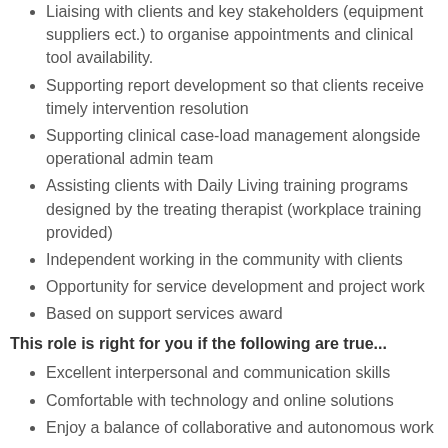Liaising with clients and key stakeholders (equipment suppliers ect.) to organise appointments and clinical tool availability.
Supporting report development so that clients receive timely intervention resolution
Supporting clinical case-load management alongside operational admin team
Assisting clients with Daily Living training programs designed by the treating therapist (workplace training provided)
Independent working in the community with clients
Opportunity for service development and project work
Based on support services award
This role is right for you if the following are true...
Excellent interpersonal and communication skills
Comfortable with technology and online solutions
Enjoy a balance of collaborative and autonomous work